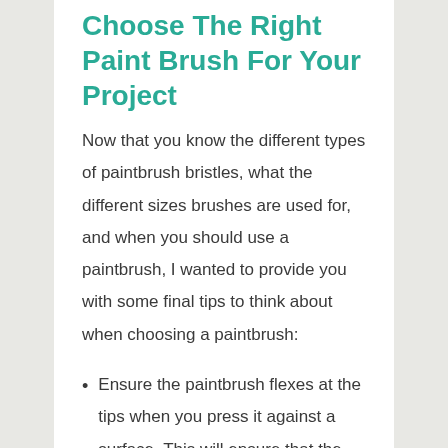Choose The Right Paint Brush For Your Project
Now that you know the different types of paintbrush bristles, what the different sizes brushes are used for, and when you should use a paintbrush, I wanted to provide you with some final tips to think about when choosing a paintbrush:
Ensure the paintbrush flexes at the tips when you press it against a surface. This will ensure that the paintbrush makes a good connection with the surface you want to paint so